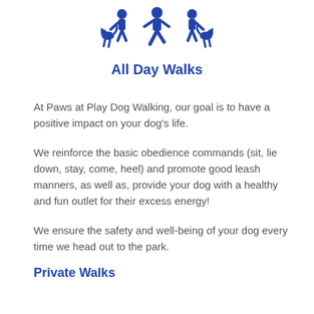[Figure (logo): Blue stylized icon showing a person walking two dogs, depicted with abstract shapes in dark blue.]
All Day Walks
At Paws at Play Dog Walking, our goal is to have a positive impact on your dog's life.
We reinforce the basic obedience commands (sit, lie down, stay, come, heel) and promote good leash manners, as well as, provide your dog with a healthy and fun outlet for their excess energy!
We ensure the safety and well-being of your dog every time we head out to the park.
Private Walks